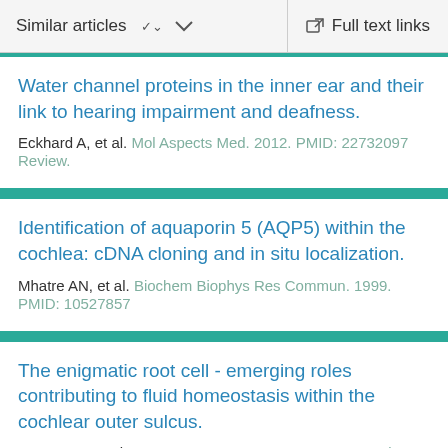Similar articles  ∨    Full text links
Water channel proteins in the inner ear and their link to hearing impairment and deafness.
Eckhard A, et al. Mol Aspects Med. 2012. PMID: 22732097 Review.
Identification of aquaporin 5 (AQP5) within the cochlea: cDNA cloning and in situ localization.
Mhatre AN, et al. Biochem Biophys Res Commun. 1999. PMID: 10527857
The enigmatic root cell - emerging roles contributing to fluid homeostasis within the cochlear outer sulcus.
Jagger DJ, et al. Hear Res. 2013. PMID: 23151402 Review.